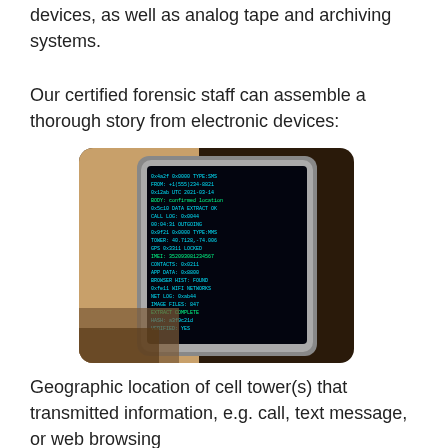devices, as well as analog tape and archiving systems.
Our certified forensic staff can assemble a thorough story from electronic devices:
[Figure (photo): Close-up photo of a smartphone displaying scrolling green/cyan text code on a dark blue/black screen, resembling forensic data extraction output.]
Geographic location of cell tower(s) that transmitted information, e.g. call, text message, or web browsing
Mobile device travel history
Voice call analysis, showing the call's format (land line or mobile), number dialed, and whether incoming or